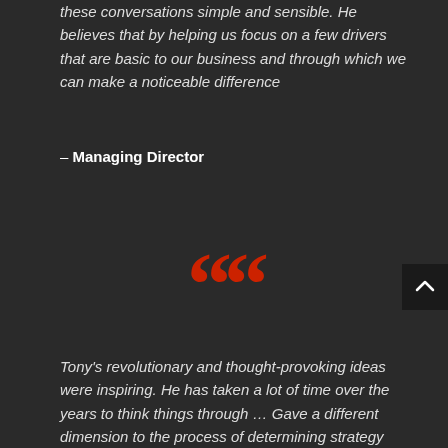these conversations simple and sensible. He believes that by helping us focus on a few drivers that are basic to our business and through which we can make a noticeable difference
– Managing Director
[Figure (illustration): Large red open quotation marks decorative element]
Tony's revolutionary and thought-provoking ideas were inspiring. He has taken a lot of time over the years to think things through … Gave a different dimension to the process of determining strategy